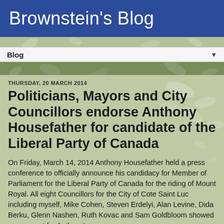Brownstein's Blog
Blog
THURSDAY, 20 MARCH 2014
Politicians, Mayors and City Councillors endorse Anthony Housefather for candidate of the Liberal Party of Canada
On Friday, March 14, 2014 Anthony Housefather held a press conference to officially announce his candidacy for Member of Parliament for the Liberal Party of Canada for the riding of Mount Royal. All eight Councillors for the City of Cote Saint Luc including myself, Mike Cohen, Steven Erdelyi, Alan Levine, Dida Berku, Glenn Nashen, Ruth Kovac and Sam Goldbloom showed our support for Anthony's